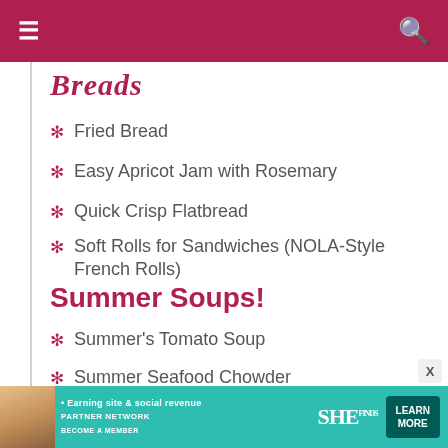Breads (partial, cropped)
Fried Bread
Easy Apricot Jam with Rosemary
Quick Crisp Flatbread
Soft Rolls for Sandwiches (NOLA-Style French Rolls)
Summer Soups!
Summer's Tomato Soup
Summer Seafood Chowder
Vichyssoise
Retro Suppers
Chicken à la King
Coffee Chops
Fish with Roasted Okra "Fries" & Tomato-Fennel